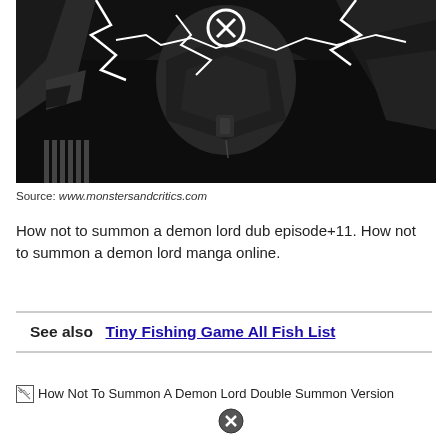[Figure (illustration): Dark manga-style illustration of a demon lord character with white lightning bolts and a circled X symbol at top, rendered in black and white/grayscale]
Source: www.monstersandcritics.com
How not to summon a demon lord dub episode+11. How not to summon a demon lord manga online.
See also  Tiny Fishing Game All Fish List
[Figure (photo): Broken image placeholder: How Not To Summon A Demon Lord Double Summon Version]